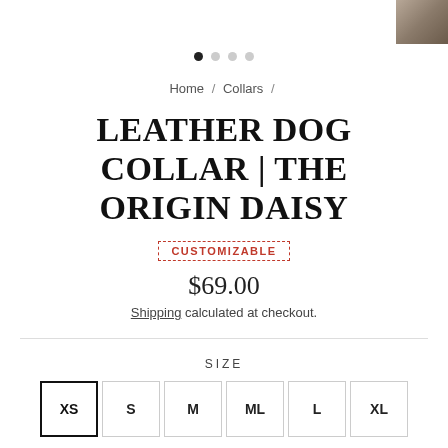[Figure (photo): Small thumbnail image in top-right corner showing a blurred product photo]
[Figure (other): Carousel dots indicator: 4 dots, first dot filled/active, remaining three empty/grey]
Home / Collars /
LEATHER DOG COLLAR | THE ORIGIN DAISY
CUSTOMIZABLE
$69.00
Shipping calculated at checkout.
SIZE
XS  S  M  ML  L  XL
CUSTOMIZE IT HERE